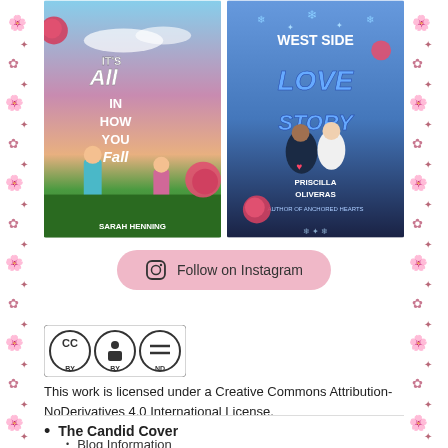[Figure (photo): Two book covers side by side: 'It's All In How You Fall' by Sarah Henning on the left, and 'West Side Love Story' by Priscilla Oliveras on the right, both displayed on a wooden surface with pink roses around them.]
Follow on Instagram
[Figure (logo): Creative Commons CC BY-ND license badge]
This work is licensed under a Creative Commons Attribution-NoDerivatives 4.0 International License.
The Candid Cover
Blog Information